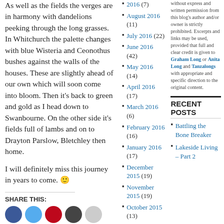As well as the fields the verges are in harmony with dandelions peeking through the long grasses. In Whitchurch the palette changes with blue Wisteria and Ceonothus bushes against the walls of the houses. These are slightly ahead of our own which will soon come into bloom. Then it's back to green and gold as I head down to Swanbourne. On the other side it's fields full of lambs and on to Drayton Parslow, Bletchley then home.
I will definitely miss this journey in years to come. 🙂
SHARE THIS:
2016 (7)
August 2016 (11)
July 2016 (22)
June 2016 (42)
May 2016 (14)
April 2016 (17)
March 2016 (6)
February 2016 (16)
January 2016 (17)
December 2015 (19)
November 2015 (19)
October 2015 (13)
September 2015 (9)
without express and written permission from this blog's author and/or owner is strictly prohibited. Excerpts and links may be used, provided that full and clear credit is given to Graham Long or Anita Long and Tanzalongs with appropriate and specific direction to the original content.
RECENT POSTS
Battling the Bone Breaker
Lakeside Living – Part 2